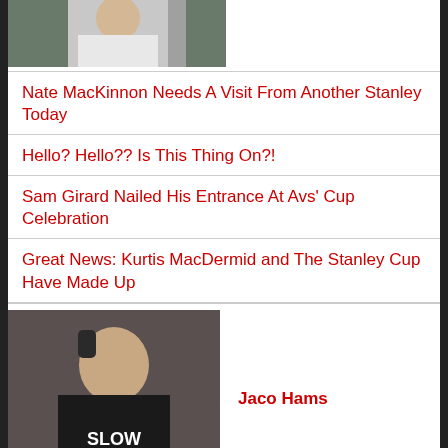[Figure (photo): Photo of a person, partially cropped at top]
Nate MacKinnon Needs A Visit From Another Stanley Today
Hello? Hello?? Is This Thing On?!
Sam Girard Nailed His Entrance At Avs' Cup Celebration
Great News: Kurtis MacDermid and The Stanley Cup Have Made Up
[Figure (photo): Photo of Jaco Hams, a man in a black 'Slow Jams' shirt drinking from a bottle]
Jaco Hams
Ham Radio Episode 68: Ponies, Playoffs, PGA